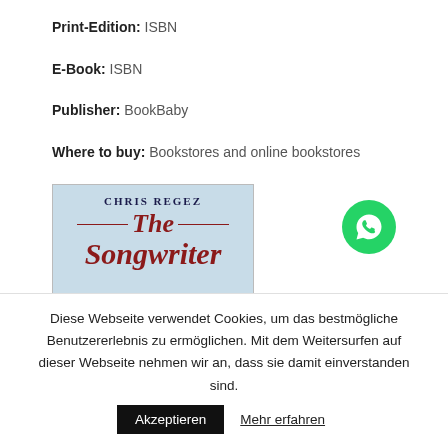Print-Edition: ISBN
E-Book: ISBN
Publisher: BookBaby
Where to buy: Bookstores and online bookstores
[Figure (illustration): Book cover for 'The Songwriter' by Chris Regez, light blue background with red script title]
[Figure (logo): WhatsApp icon in a green circle]
Diese Webseite verwendet Cookies, um das bestmögliche Benutzererlebnis zu ermöglichen. Mit dem Weitersurfen auf dieser Webseite nehmen wir an, dass sie damit einverstanden sind. Akzeptieren Mehr erfahren